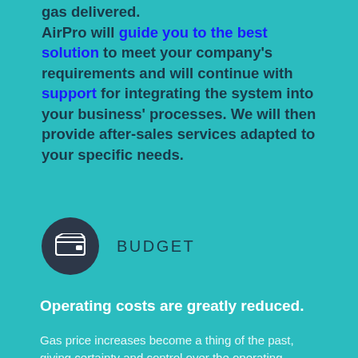gas delivered. AirPro will guide you to the best solution to meet your company's requirements and will continue with support for integrating the system into your business' processes. We will then provide after-sales services adapted to your specific needs.
[Figure (infographic): Dark circular icon with a wallet/budget symbol inside, next to the label BUDGET]
BUDGET
Operating costs are greatly reduced.
Gas price increases become a thing of the past, giving certainty and control over the operating budget.